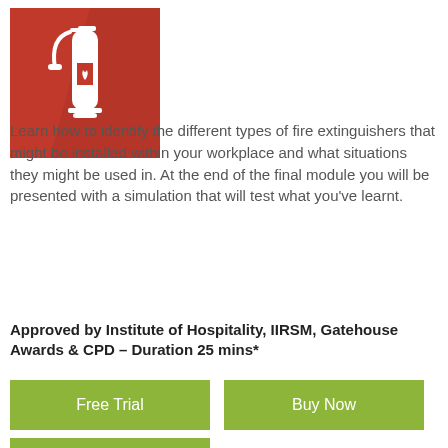[Figure (logo): Red square fire extinguisher icon with white fire extinguisher silhouette and flame symbol on a red background with shadow effect]
Learn how to identify the different types of fire extinguishers that might be installed within your workplace and what situations they might be used in. At the end of the final module you will be presented with a simulation that will test what you’ve learnt.
Approved by Institute of Hospitality, IIRSM, Gatehouse Awards & CPD – Duration 25 mins*
Free Trial
Buy Now
User Login